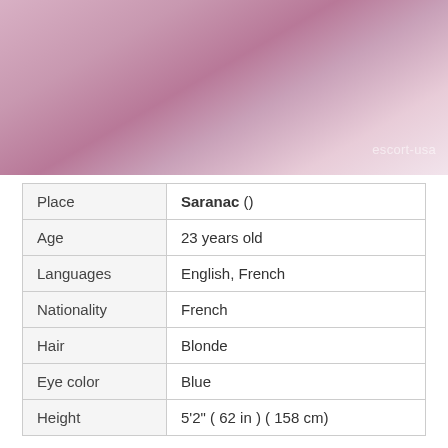[Figure (photo): Person wearing pink satin outfit, photo watermarked with 'escort-usa']
| Place | Saranac () |
| Age | 23 years old |
| Languages | English, French |
| Nationality | French |
| Hair | Blonde |
| Eye color | Blue |
| Height | 5'2" ( 62 in ) ( 158 cm) |